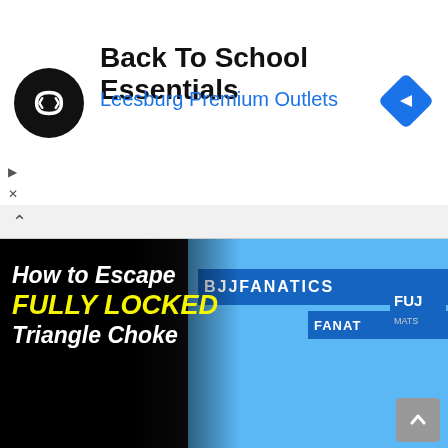[Figure (screenshot): Ad banner: Back To School Essentials at Leesburg Premium Outlets with circular logo and navigation icon]
Back To School Essentials
Leesburg Premium Outlets
[Figure (screenshot): Video thumbnail: How to Escape FULLY LOCKED Triangle Choke by Henry Akins - BJJ Fanatics video showing two grapplers on blue mat]
Escape FULLY LOCKED Triangle Choke
[Figure (screenshot): Bottom partial thumbnail showing John Wayne Swoop text in yellow italic font on dark background]